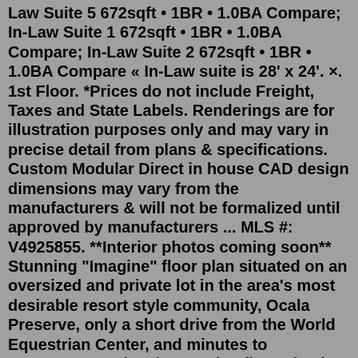Law Suite 5 672sqft • 1BR • 1.0BA Compare; In-Law Suite 1 672sqft • 1BR • 1.0BA Compare; In-Law Suite 2 672sqft • 1BR • 1.0BA Compare « In-Law suite is 28' x 24'. ×. 1st Floor. *Prices do not include Freight, Taxes and State Labels. Renderings are for illustration purposes only and may vary in precise detail from plans & specifications. Custom Modular Direct in house CAD design dimensions may vary from the manufacturers & will not be formalized until approved by manufacturers ... MLS #: V4925855. **Interior photos coming soon** Stunning "Imagine" floor plan situated on an oversized and private lot in the area's most desirable resort style community, Ocala Preserve, only a short drive from the World Equestrian Center, and minutes to Downtown Ocala. The Imagine floor plan is arguably one of the most coveted of the Shea Home collection - add in the mother in law suite ... Jan 04, 2019 · 2 bedrooms. 2 bathrooms (one of which we were able to get her in the basement) Storage space. 1,000 square feet. Garage space if possible. Separate laundry. So,